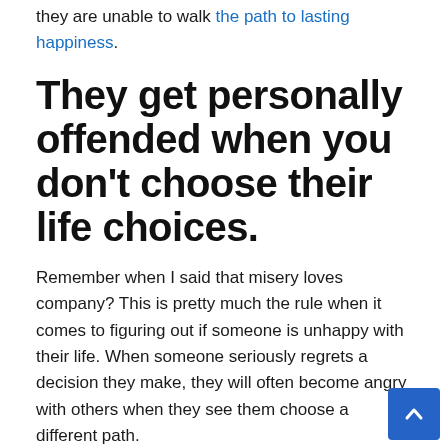they are unable to walk the path to lasting happiness.
They get personally offended when you don't choose their life choices.
Remember when I said that misery loves company? This is pretty much the rule when it comes to figuring out if someone is unhappy with their life. When someone seriously regrets a decision they make, they will often become angry with others when they see them choose a different path.